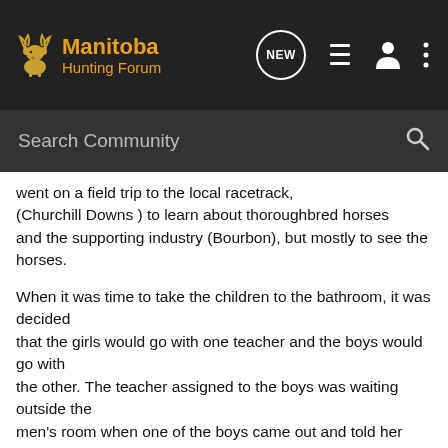Manitoba Hunting Forum
Search Community
went on a field trip to the local racetrack, (Churchill Downs ) to learn about thoroughbred horses and the supporting industry (Bourbon), but mostly to see the horses.
When it was time to take the children to the bathroom, it was decided that the girls would go with one teacher and the boys would go with the other. The teacher assigned to the boys was waiting outside the men's room when one of the boys came out and told her that none of them could reach the urinal.